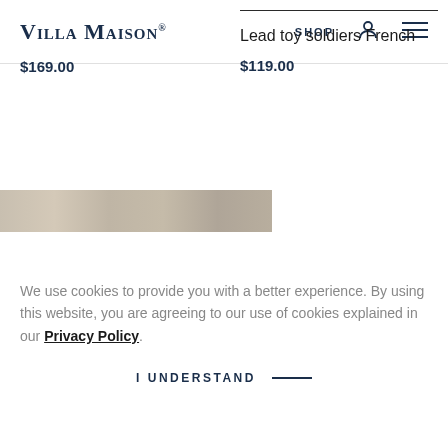VILLA MAISON | SHOP
$169.00
Lead toy soldiers French
$119.00
[Figure (photo): Partial textured surface image strip, brownish/beige tones]
We use cookies to provide you with a better experience. By using this website, you are agreeing to our use of cookies explained in our Privacy Policy.
I UNDERSTAND